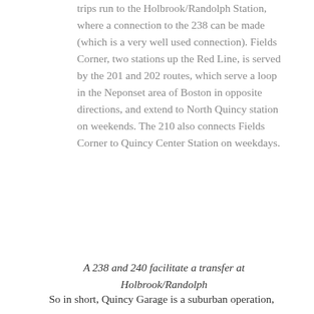trips run to the Holbrook/Randolph Station, where a connection to the 238 can be made (which is a very well used connection). Fields Corner, two stations up the Red Line, is served by the 201 and 202 routes, which serve a loop in the Neponset area of Boston in opposite directions, and extend to North Quincy station on weekends. The 210 also connects Fields Corner to Quincy Center Station on weekdays.
A 238 and 240 facilitate a transfer at Holbrook/Randolph
So in short, Quincy Garage is a suburban operation,